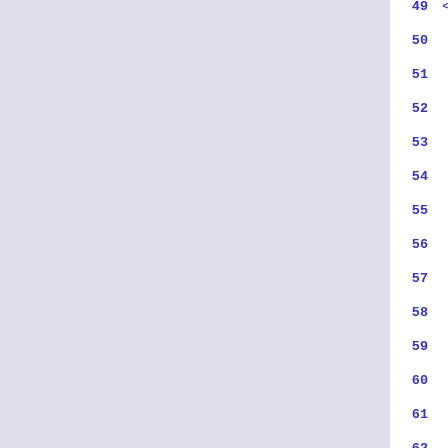[Figure (screenshot): Code editor screenshot showing XML/UI definition file with line numbers 49-65. Left side shows a light blue-grey sidebar. Right side shows code lines in dark blue monospace font on white background. Lines show XML tags: property name (49), blank (50), child (51), widget class (52), blank (53), child (54), widget clas... (55), property (56), property (57), property (58), property (59), signal na... (60), /widget (61), /child (62), blank (63), child (64), widget cla... (65).]